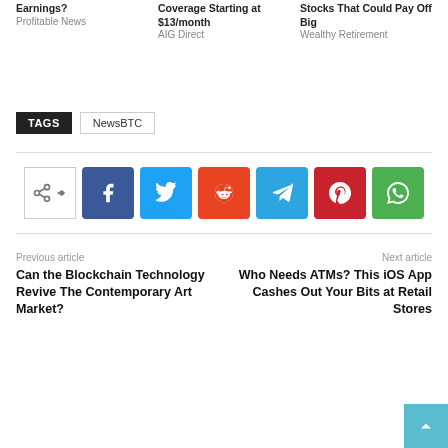Earnings?
Profitable News
Coverage Starting at $13/month
AIG Direct
Stocks That Could Pay Off Big
Wealthy Retirement
TAGS  NewsBTC
[Figure (other): Social share buttons: share icon, Facebook, Twitter, Reddit, Telegram, Pinterest, WhatsApp]
Previous article
Can the Blockchain Technology Revive The Contemporary Art Market?
Next article
Who Needs ATMs? This iOS App Cashes Out Your Bits at Retail Stores